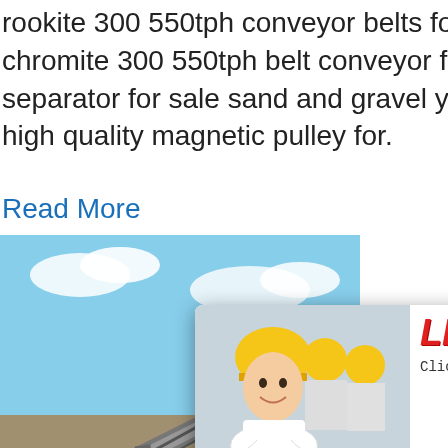rookite 300 550tph conveyor belts for rusher for sale chromite 300 550tph belt conveyor for 00 550tph magnetic separator for sale sand and gravel you can buy various high quality magnetic pulley for.
Read More
[Figure (photo): Conveyor belt and mining machinery on an outdoor industrial site with blue sky background]
[Figure (screenshot): Live chat popup overlay with person in hardhat, LIVE CHAT title in red italic, Click for a Free Consultation subtitle, Chat now (red) and Chat later (dark) buttons]
[Figure (photo): Right sidebar with blue background showing cone crusher machine image, Click me to chat>> button, Enquiry section, and limingjlmofen branding]
16000 Gauss He 12000 Gauss Magnetic Separator del-wein Gauss Magnetic Separator. Application We permanent magnetic drum separator HIDS upgrade weakly magnetic ferrous minerals nonferrous minerals examples of former be pyrrhotite, roasted ore, ilmenite, hematite a
Read More